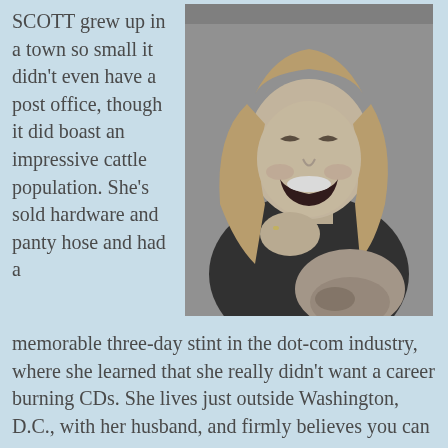SCOTT grew up in a town so small it didn't even have a post office, though it did boast an impressive cattle population. She's sold hardware and panty hose and had a memorable three-day stint in the dot-com industry, where she learned that she really didn't want a career burning CDs. She lives just outside Washington, D.C., with her husband, and firmly believes you can never own too many books.
[Figure (photo): Black and white photograph of a laughing woman with long blonde hair, wearing dark clothing, with a dog nuzzling close to her. She appears joyful and is wearing a ring.]